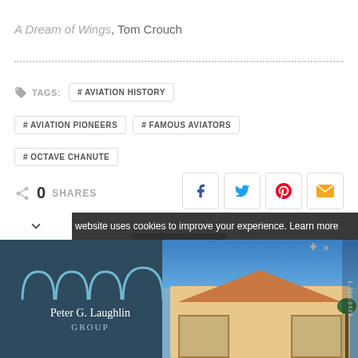A Dream of Wings, Tom Crouch
# AVIATION HISTORY
# AVIATION PIONEERS
# FAMOUS AVIATORS
# OCTAVE CHANUTE
0 SHARES
[Figure (screenshot): Social sharing buttons: Facebook, Twitter, Pinterest, Email]
[Figure (photo): Partial photo of a person's face/head at bottom of page]
website uses cookies to improve your experience. Learn more
[Figure (photo): Peter G. Laughlin Group advertisement banner with house photo]